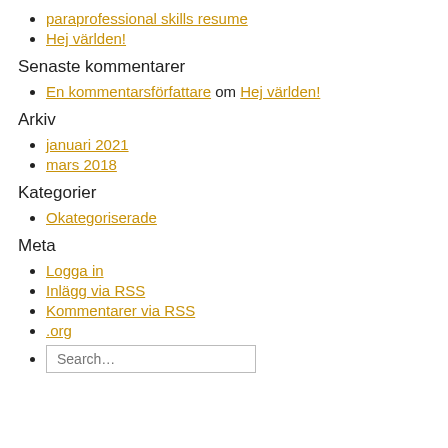paraprofessional skills resume
Hej världen!
Senaste kommentarer
En kommentarsförfattare om Hej världen!
Arkiv
januari 2021
mars 2018
Kategorier
Okategoriserade
Meta
Logga in
Inlägg via RSS
Kommentarer via RSS
.org
Search...